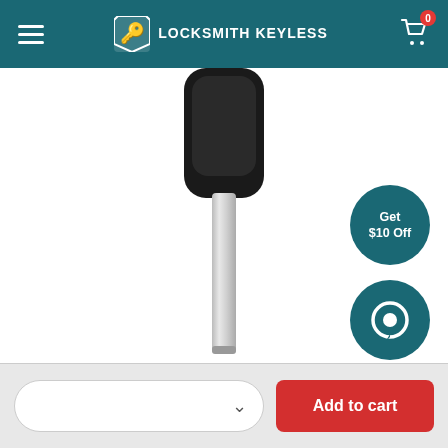Locksmith Keyless — Navigation header with hamburger menu, logo, and cart (0 items)
[Figure (photo): A car key with a black plastic head/fob body and a silver metal blade extending downward, shown on a white background.]
[Figure (infographic): Circular teal badge with text 'Get $10 Off']
[Figure (infographic): Circular teal chat/speech bubble icon button]
Dropdown selector and Add to cart button